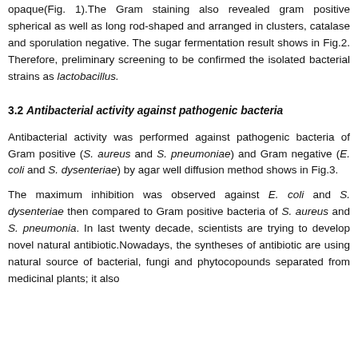opaque(Fig. 1).The Gram staining also revealed gram positive spherical as well as long rod-shaped and arranged in clusters, catalase and sporulation negative. The sugar fermentation result shows in Fig.2. Therefore, preliminary screening to be confirmed the isolated bacterial strains as lactobacillus.
3.2 Antibacterial activity against pathogenic bacteria
Antibacterial activity was performed against pathogenic bacteria of Gram positive (S. aureus and S. pneumoniae) and Gram negative (E. coli and S. dysenteriae) by agar well diffusion method shows in Fig.3.
The maximum inhibition was observed against E. coli and S. dysenteriae then compared to Gram positive bacteria of S. aureus and S. pneumonia. In last twenty decade, scientists are trying to develop novel natural antibiotic.Nowadays, the syntheses of antibiotic are using natural source of bacterial, fungi and phytocopounds separated from medicinal plants; it also